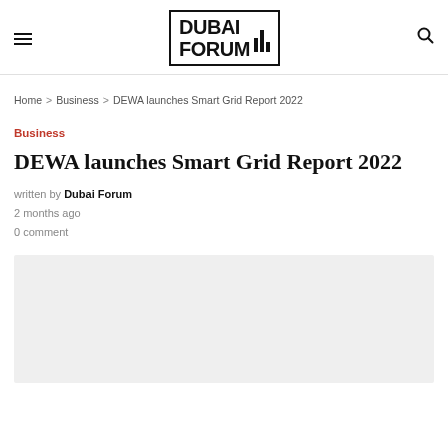Dubai Forum
Home > Business > DEWA launches Smart Grid Report 2022
Business
DEWA launches Smart Grid Report 2022
written by Dubai Forum
2 months ago
0 comment
[Figure (photo): Article image placeholder, light gray background]